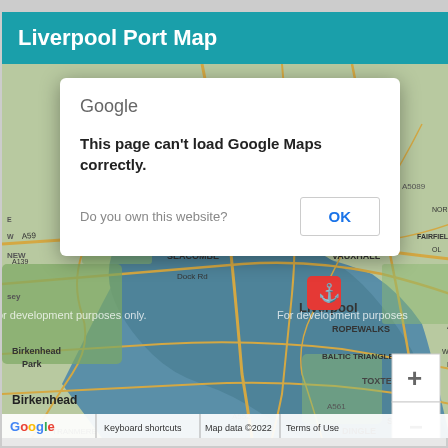Liverpool Port Map
[Figure (map): Google Maps screenshot showing Liverpool, UK area including Birkenhead, Birkenhead Park, Vauxhall, Ropewalks, Baltic Triangle, Toxteth, Dingle, Sefton, St Michael's Hamlet areas. Shows a red map marker with anchor icon over Liverpool city centre. Watermark text reads 'For development purposes only'. Map data ©2022.]
Google
This page can't load Google Maps correctly.
Do you own this website?
OK
Keyboard shortcuts | Map data ©2022 | Terms of Use